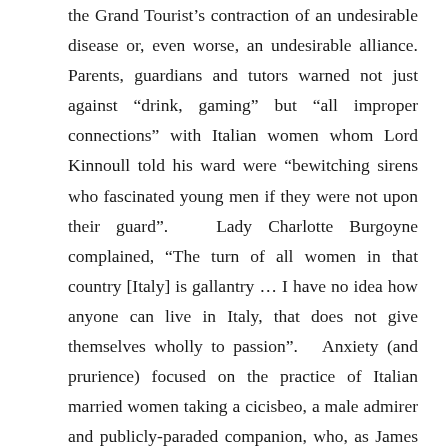the Grand Tourist's contraction of an undesirable disease or, even worse, an undesirable alliance. Parents, guardians and tutors warned not just against “drink, gaming” but “all improper connections” with Italian women whom Lord Kinnoull told his ward were “bewitching sirens who fascinated young men if they were not upon their guard”.   Lady Charlotte Burgoyne complained, “The turn of all women in that country [Italy] is gallantry … I have no idea how anyone can live in Italy, that does not give themselves wholly to passion”.   Anxiety (and prurience) focused on the practice of Italian married women taking a cicisbeo, a male admirer and publicly-paraded companion, who, as James Boswell found out in Siena, sometimes became a bedfellow.   As Thomas Watkins commented in his